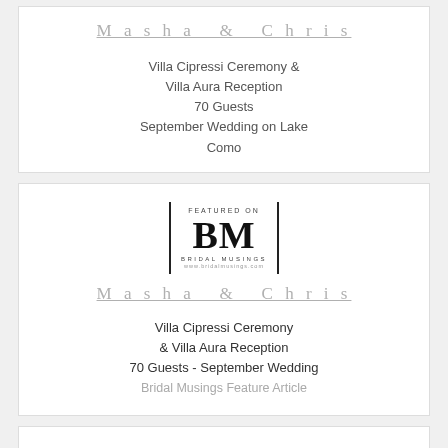Masha & Chris
Villa Cipressi Ceremony & Villa Aura Reception
70 Guests
September Wedding on Lake Como
[Figure (logo): Bridal Musings 'Featured On' badge with BM logo, vertical bars on each side, text: FEATURED ON, BM, BRIDAL MUSINGS, www.bridalmusings.com]
Masha & Chris
Villa Cipressi Ceremony & Villa Aura Reception
70 Guests - September Wedding
Bridal Musings Feature Article
[Figure (logo): Junebug Weddings logo in italic script with WEDDINGS text below]
Amanda &